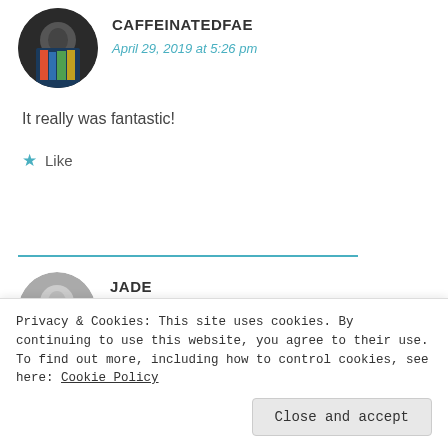CAFFEINATEDFAE
April 29, 2019 at 5:26 pm
It really was fantastic!
★ Like
[Figure (photo): Circular avatar photo of CAFFEINATEDFAE showing a person with books in background]
[Figure (photo): Circular black and white avatar photo of Jade showing a blonde person smiling]
JADE
April 29, 2019 at 3:00 pm
Privacy & Cookies: This site uses cookies. By continuing to use this website, you agree to their use.
To find out more, including how to control cookies, see here: Cookie Policy
Close and accept